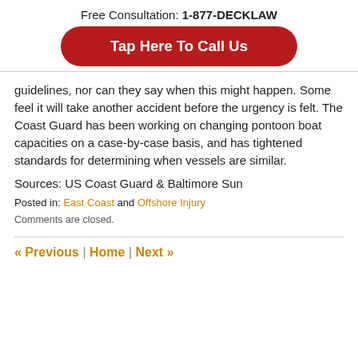Free Consultation: 1-877-DECKLAW
[Figure (other): Red rounded rectangle button with white bold text: Tap Here To Call Us]
guidelines, nor can they say when this might happen. Some feel it will take another accident before the urgency is felt. The Coast Guard has been working on changing pontoon boat capacities on a case-by-case basis, and has tightened standards for determining when vessels are similar.
Sources: US Coast Guard & Baltimore Sun
Posted in: East Coast and Offshore Injury
Comments are closed.
« Previous | Home | Next »